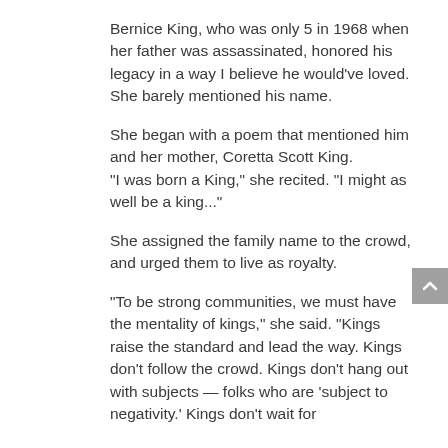Bernice King, who was only 5 in 1968 when her father was assassinated, honored his legacy in a way I believe he would've loved. She barely mentioned his name.
She began with a poem that mentioned him and her mother, Coretta Scott King.
"I was born a King," she recited. "I might as well be a king..."
She assigned the family name to the crowd, and urged them to live as royalty.
"To be strong communities, we must have the mentality of kings," she said. "Kings raise the standard and lead the way. Kings don't follow the crowd. Kings don't hang out with subjects — folks who are 'subject to negativity.' Kings don't wait for